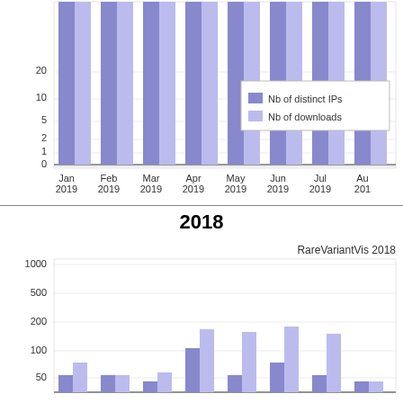[Figure (grouped-bar-chart): 2019 (partial, top portion)]
2018
[Figure (grouped-bar-chart): RareVariantVis 2018]